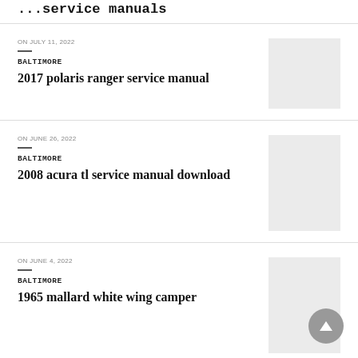...service manuals
ON JULY 11, 2022
BALTIMORE
2017 polaris ranger service manual
[Figure (photo): Thumbnail image placeholder, light gray]
ON JUNE 26, 2022
BALTIMORE
2008 acura tl service manual download
[Figure (photo): Thumbnail image placeholder, light gray]
ON JUNE 4, 2022
BALTIMORE
1965 mallard white wing camper
[Figure (photo): Thumbnail image placeholder, light gray]